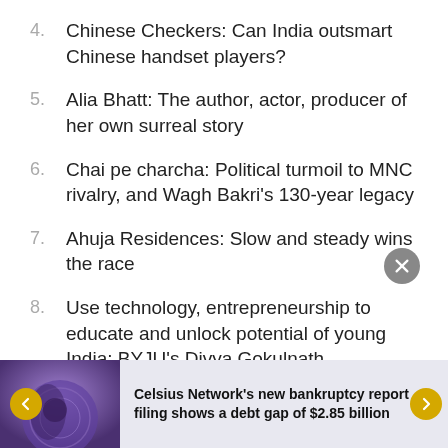4. Chinese Checkers: Can India outsmart Chinese handset players?
5. Alia Bhatt: The author, actor, producer of her own surreal story
6. Chai pe charcha: Political turmoil to MNC rivalry, and Wagh Bakri's 130-year legacy
7. Ahuja Residences: Slow and steady wins the race
8. Use technology, entrepreneurship to educate and unlock potential of young India: BYJU's Divya Gokulnath
Celsius Network's new bankruptcy report filing shows a debt gap of $2.85 billion